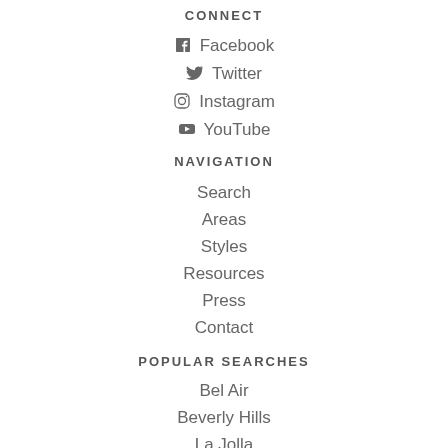CONNECT
Facebook
Twitter
Instagram
YouTube
NAVIGATION
Search
Areas
Styles
Resources
Press
Contact
POPULAR SEARCHES
Bel Air
Beverly Hills
La Jolla